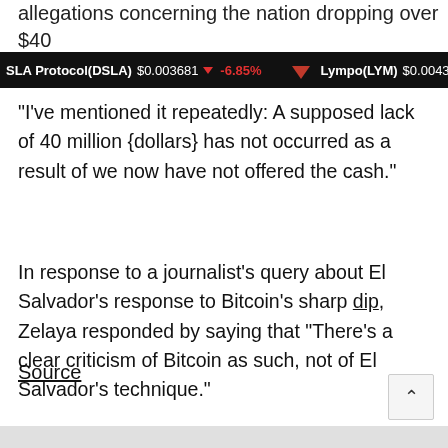allegations concerning the nation dropping over $40 million, stating:
SLA Protocol(DSLA) $0.003681 ↓ -6.85%   Lympo(LYM) $0.004392
“I’ve mentioned it repeatedly: A supposed lack of 40 million {dollars} has not occurred as a result of we now have not offered the cash.”
In response to a journalist’s query about El Salvador’s response to Bitcoin’s sharp dip, Zelaya responded by saying that “There’s a clear criticism of Bitcoin as such, not of El Salvador’s technique.”
Source